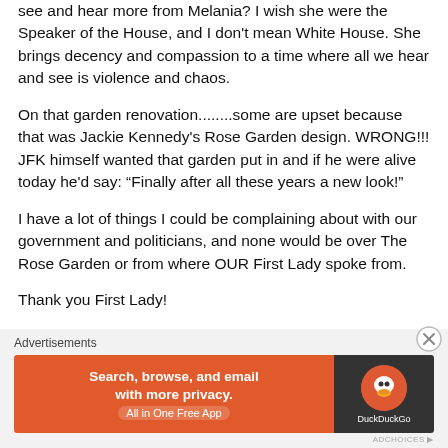see and hear more from Melania? I wish she were the Speaker of the House, and I don't mean White House. She brings decency and compassion to a time where all we hear and see is violence and chaos.
On that garden renovation........some are upset because that was Jackie Kennedy's Rose Garden design. WRONG!!! JFK himself wanted that garden put in and if he were alive today he'd say: “Finally after all these years a new look!”
I have a lot of things I could be complaining about with our government and politicians, and none would be over The Rose Garden or from where OUR First Lady spoke from.
Thank you First Lady!
[Figure (screenshot): DuckDuckGo advertisement banner with orange left panel reading 'Search, browse, and email with more privacy. All in One Free App' and dark right panel with DuckDuckGo logo.]